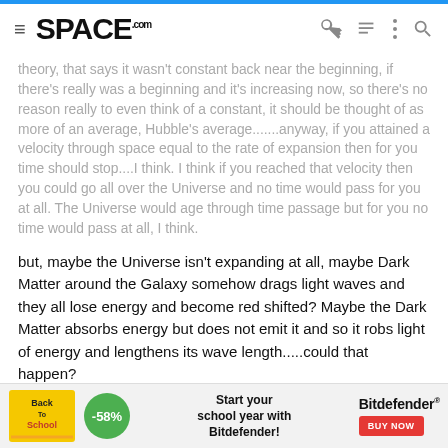SPACE.com
theory, that says it wasn't constant back near the beginning, if there's really was a beginning and it's increasing now, so there's no reason really to even think of a constant, it should be thought of as more of an average, Hubble's average.......anyway, if you attained a velocity through space equal to the rate of expansion then for you time should stop....I think. I think if you reached that velocity then you could go all over the Universe and no time would pass for you at all. The Universe would age through time passage but for you no time would pass at all, I think.
but, maybe the Universe isn't expanding at all, maybe Dark Matter around the Galaxy somehow drags light waves and they all lose energy and become red shifted? Maybe the Dark Matter absorbs energy but does not emit it and so it robs light of energy and lengthens its wave length.....could that happen?
why does energy travel as a wave at all? I thought about that and my mind is saying "because it has to" my mind then asks "why does it
[Figure (infographic): Back to School advertisement banner featuring Back To School logo, -58% green badge, text 'Start your school year with Bitdefender!' and Bitdefender brand name with red BUY NOW button]